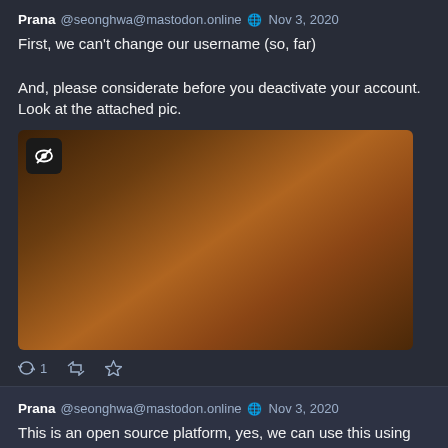Prana @seonghwa@mastodon.online  Nov 3, 2020
First, we can't change our username (so, far)

And, please considerate before you deactivate your account. Look at the attached pic.
[Figure (photo): A blurred dark orange/brown colored attached image with a small icon in top-left corner showing an eye-like symbol on a dark background]
1  [retweet icon]  [star icon]
Prana @seonghwa@mastodon.online  Nov 3, 2020
This is an open source platform, yes, we can use this using our own server. It called as decentralized/federated.